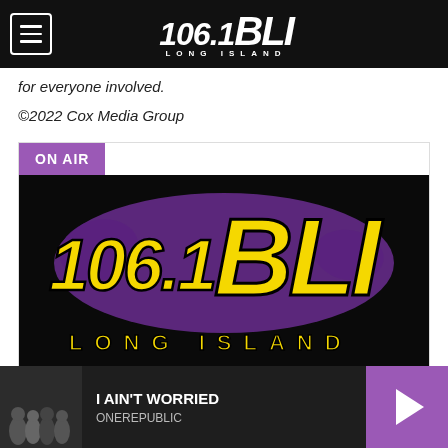[Figure (logo): 106.1 BLI Long Island radio station logo in white on black navigation bar]
for everyone involved.
©2022 Cox Media Group
ON AIR
[Figure (logo): 106.1 BLI Long Island large station logo in yellow and purple on black background]
On Air Now: 106.1 BLI
I AIN'T WORRIED ONEREPUBLIC